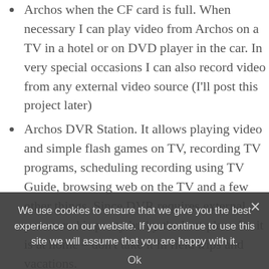Archos when the CF card is full. When necessary I can play video from Archos on a TV in a hotel or on DVD player in the car. In very special occasions I can also record video from any external video source (I'll post this project later)
Archos DVR Station. It allows playing video and simple flash games on TV, recording TV programs, scheduling recording using TV Guide, browsing web on the TV and a few other things. Since DVR requires external power and is pretty bulky the best place for it is at home – don't take it in field trips and vacations.
OpenSuSE Linux with FUPPES Media Server. It streams all media available on multiple hard drives to Archos, so instead of flipping many DVDs I'm scrolling many files and choosing which one I want to see. Since Archos can even display thumbnails of the videos this is very easy
We use cookies to ensure that we give you the best experience on our website. If you continue to use this site we will assume that you are happy with it.